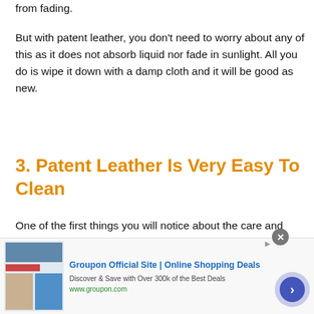from fading.
But with patent leather, you don't need to worry about any of this as it does not absorb liquid nor fade in sunlight. All you do is wipe it down with a damp cloth and it will be good as new.
3. Patent Leather Is Very Easy To Clean
One of the first things you will notice about the care and maintenance of patent leather is that it is very easy to clean.
[Figure (screenshot): Groupon advertisement banner: logo image on left, text 'Groupon Official Site | Online Shopping Deals', 'Discover & Save with Over 300k of the Best Deals', 'www.groupon.com', with a navigation arrow button on the right and a close (x) button at top right.]